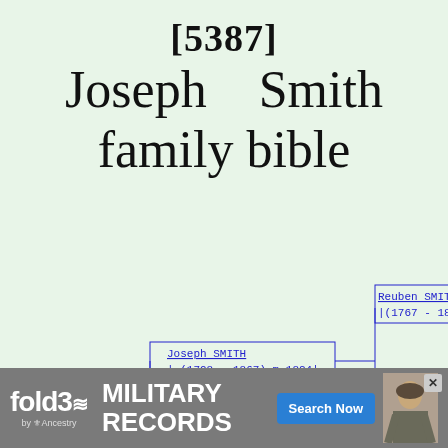[5387] Joseph Smith family bible
[Figure (organizational-chart): Genealogy family tree chart showing Joseph SMITH (1798-1867) m 1824 connected to parents Reuben SMITH (1767-1840) m 1788 and Sarah Beach CLARK (1773-1834) m 1788, displayed as a pedigree chart with blue text on light blue-grey background]
[Figure (other): Advertisement banner for fold3 by Ancestry military records with Search Now button and soldier photo]